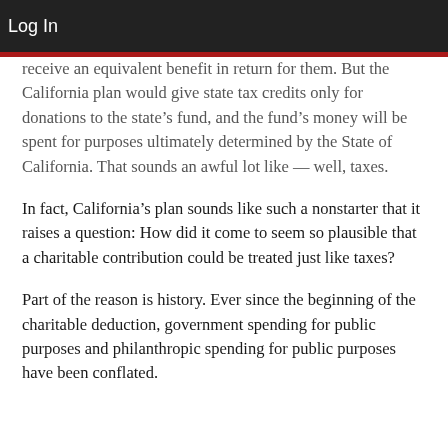Log In
receive an equivalent benefit in return for them. But the California plan would give state tax credits only for donations to the state's fund, and the fund's money will be spent for purposes ultimately determined by the State of California. That sounds an awful lot like — well, taxes.
In fact, California's plan sounds like such a nonstarter that it raises a question: How did it come to seem so plausible that a charitable contribution could be treated just like taxes?
Part of the reason is history. Ever since the beginning of the charitable deduction, government spending for public purposes and philanthropic spending for public purposes have been conflated.